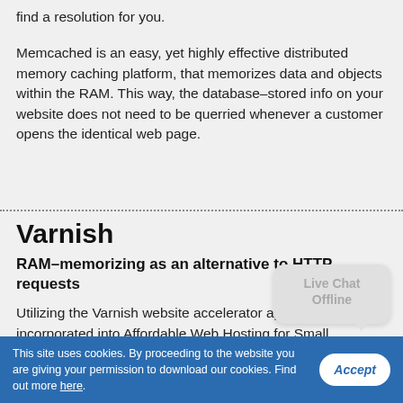find a resolution for you.
Memcached is an easy, yet highly effective distributed memory caching platform, that memorizes data and objects within the RAM. This way, the database–stored info on your website does not need to be querried whenever a customer opens the identical web page.
Varnish
RAM–memorizing as an alternative to HTTP requests
Utilizing the Varnish website accelerator application incorporated into Affordable Web Hosting for Small
This site uses cookies. By proceeding to the website you are giving your permission to download our cookies. Find out more here.